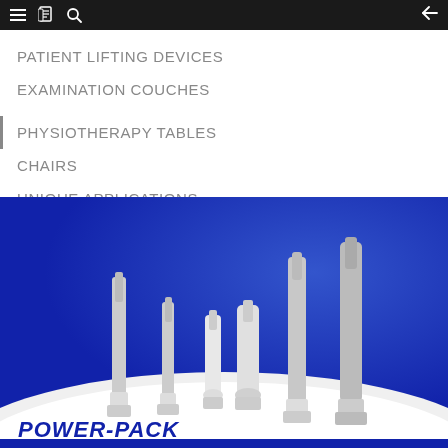Navigation bar with hamburger menu, document icon, search icon, and back arrow
PATIENT LIFTING DEVICES
EXAMINATION COUCHES
PHYSIOTHERAPY TABLES
CHAIRS
UNIQUE APPLICATIONS
[Figure (photo): Product photo of multiple linear actuators of varying sizes arranged on a white curved display stand against a royal blue background. A partial 'POWER-PACK' logo is visible at the bottom left.]